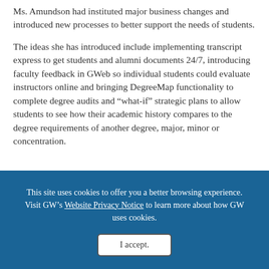Ms. Amundson had instituted major business changes and introduced new processes to better support the needs of students.
The ideas she has introduced include implementing transcript express to get students and alumni documents 24/7, introducing faculty feedback in GWeb so individual students could evaluate instructors online and bringing DegreeMap functionality to complete degree audits and “what-if” strategic plans to allow students to see how their academic history compares to the degree requirements of another degree, major, minor or concentration.
This site uses cookies to offer you a better browsing experience. Visit GW’s Website Privacy Notice to learn more about how GW uses cookies.
I accept.